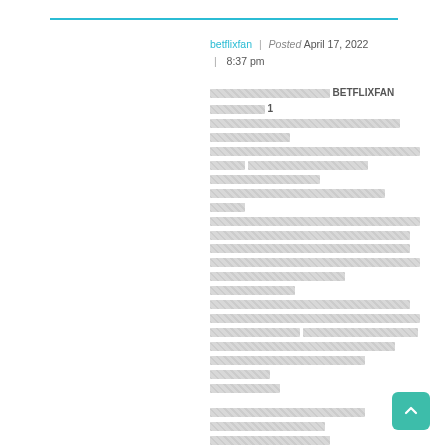betflixfan | Posted April 17, 2022 | 8:37 pm
[redacted text block] BETFLIXFAN [redacted] 1 [redacted paragraph text spanning multiple lines]
[redacted paragraph text spanning multiple lines]